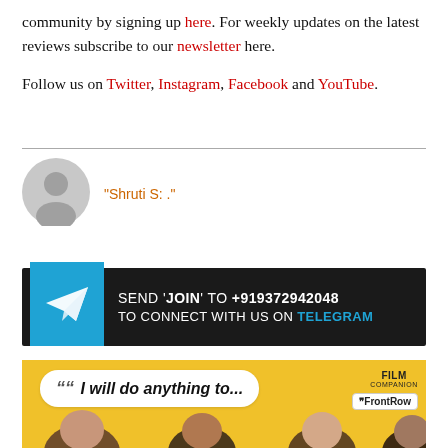community by signing up here. For weekly updates on the latest reviews subscribe to our newsletter here.
Follow us on Twitter, Instagram, Facebook and YouTube.
"Shruti S: ."
[Figure (infographic): Telegram banner: Send 'JOIN' to +919372942048 to connect with us on Telegram]
[Figure (photo): Film Companion / FrontRow banner with speech bubble: 'I will do anything to...' on yellow background with people]